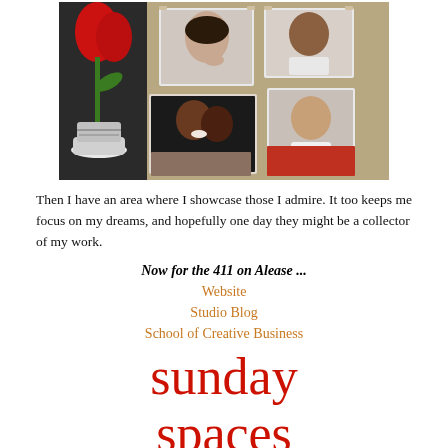[Figure (photo): Photo collage showing a red tulip in a vase on the left, and several black-and-white and color portrait photographs pinned to a board on the right, including a classic glamour portrait, a man and woman embracing, a smiling woman, and other portraits.]
Then I have an area where I showcase those I admire. It too keeps me focus on my dreams, and hopefully one day they might be a collector of my work.
Now for the 411 on Alease  ...
Website
Studio Blog
School of Creative Business
sunday spaces